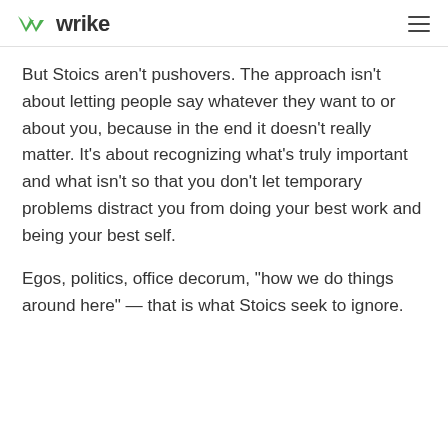wrike
But Stoics aren't pushovers. The approach isn't about letting people say whatever they want to or about you, because in the end it doesn't really matter. It's about recognizing what's truly important and what isn't so that you don't let temporary problems distract you from doing your best work and being your best self.
Egos, politics, office decorum, "how we do things around here" — that is what Stoics seek to ignore.